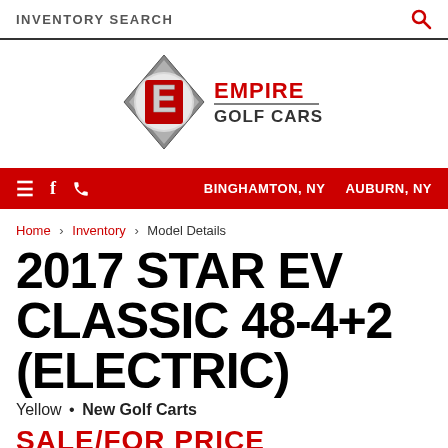INVENTORY SEARCH
[Figure (logo): Empire Golf Cars logo with diamond shaped golf ball emblem and red E letter, beside bold red EMPIRE GOLF CARS text]
≡  f  📞  BINGHAMTON, NY  AUBURN, NY
Home › Inventory › Model Details
2017 STAR EV CLASSIC 48-4+2 (ELECTRIC)
Yellow • New Golf Carts
SALE/FOR PRICE